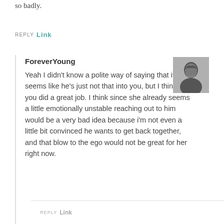so badly.
REPLY Link
ForeverYoung
[Figure (photo): Black and white portrait photo of a smiling woman with dark hair]
Yeah I didn't know a polite way of saying that it seems like he's just not that into you, but I think you did a great job. I think since she already seems a little emotionally unstable reaching out to him would be a very bad idea because i'm not even a little bit convinced he wants to get back together, and that blow to the ego would not be great for her right now.
REPLY Link